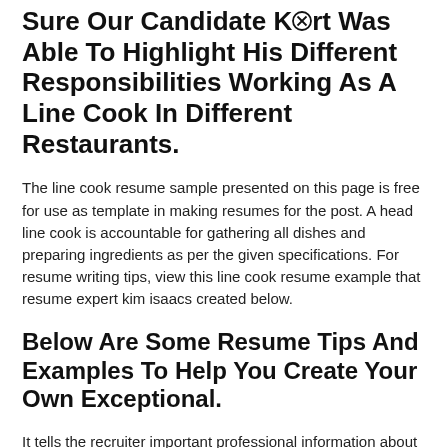Sure Our Candidate Kurt Was Able To Highlight His Different Responsibilities Working As A Line Cook In Different Restaurants.
The line cook resume sample presented on this page is free for use as template in making resumes for the post. A head line cook is accountable for gathering all dishes and preparing ingredients as per the given specifications. For resume writing tips, view this line cook resume example that resume expert kim isaacs created below.
Below Are Some Resume Tips And Examples To Help You Create Your Own Exceptional.
It tells the recruiter important professional information about you such as your current professional designation and your functional industry. Line cook job description for resume | now hiring great carehealthjobs.com. Line cook resume sample & template line cooks